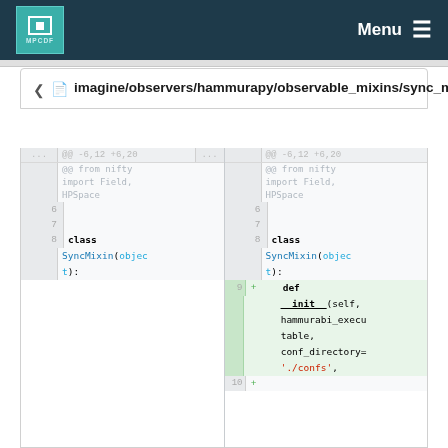MPCDF Menu
imagine/observers/hammurapy/observable_mixins/sync_mixin.py
[Figure (screenshot): Code diff view showing changes to sync_mixin.py. Left panel shows old version (lines 6-8) with class SyncMixin(object): definition. Right panel shows new version with added lines 9+ including def __init__(self, hammurabi_executable, conf_directory='./confs',]
@@ -6,12 +6,20 ... @@ from nifty import Field, HPSpace
6
7
8 class SyncMixin(object):